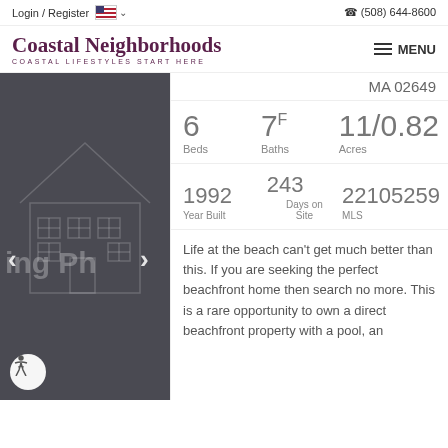Login / Register  (508) 644-8600
Coastal Neighborhoods
COASTAL LIFESTYLES START HERE
[Figure (screenshot): Dark grey photo panel with house outline watermark, navigation arrows, and text 'ing Ph']
MA 02649
6 Beds  7F Baths  11/0.82 Acres
1992 Year Built  243 Days on Site  22105259 MLS
Life at the beach can't get much better than this. If you are seeking the perfect beachfront home then search no more. This is a rare opportunity to own a direct beachfront property with a pool, an